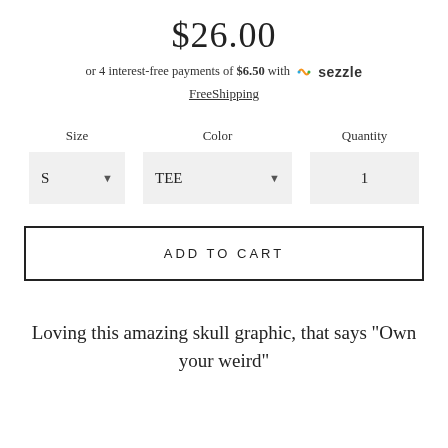$26.00
or 4 interest-free payments of $6.50 with 🌀 sezzle
FreeShipping
Size   Color   Quantity
S ▾   TEE ▾   1
ADD TO CART
Loving this amazing skull graphic, that says "Own your weird"